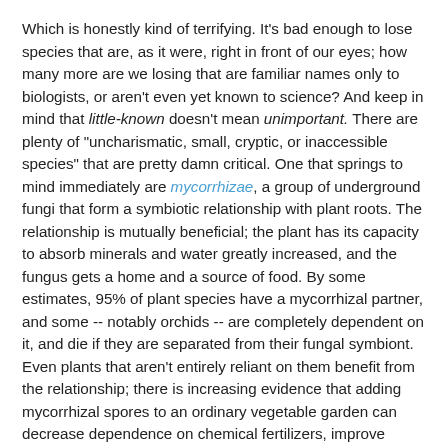Which is honestly kind of terrifying.  It's bad enough to lose species that are, as it were, right in front of our eyes; how many more are we losing that are familiar names only to biologists, or aren't even yet known to science?  And keep in mind that little-known doesn't mean unimportant.  There are plenty of "uncharismatic, small, cryptic, or inaccessible species" that are pretty damn critical.  One that springs to mind immediately are mycorrhizae, a group of underground fungi that form a symbiotic relationship with plant roots.  The relationship is mutually beneficial; the plant has its capacity to absorb minerals and water greatly increased, and the fungus gets a home and a source of food.  By some estimates, 95% of plant species have a mycorrhizal partner, and some -- notably orchids -- are completely dependent on it, and die if they are separated from their fungal symbiont.  Even plants that aren't entirely reliant on them benefit from the relationship; there is increasing evidence that adding mycorrhizal spores to an ordinary vegetable garden can decrease dependence on chemical fertilizers, improve drought resistance, and increase crop yield (some experiments have seen it as much as double).